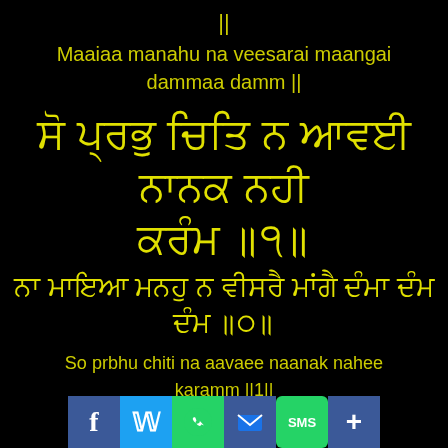||
Maaiaa manahu na veesarai maangai dammaa damm ||
ਸੋ ਪ੍ਰਭੁ ਚਿਤਿ ਨ ਆਵਈ ਨਾਨਕ ਨਹੀ ਕਰੰਮ ॥੧॥
ਨਾ ਮਾਇਆ ਮਨਹੁ ਨ ਵੀਸਰੈ ਮਾਂਗੈ ਦੰਮਾ ਦੰਮ ॥੦॥
So prbhu chiti na aavaee naanak nahee karamm ||1||
[Figure (infographic): Social sharing bar with Facebook, Twitter, WhatsApp, Email, SMS, and plus icons]